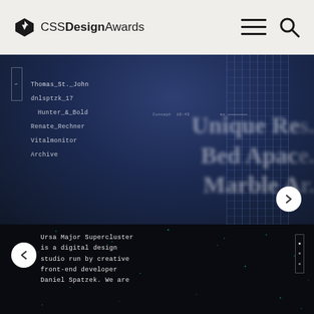[Figure (screenshot): CSS Design Awards website header with logo, hamburger menu, and search icon on light beige background]
[Figure (screenshot): Dark blue website screenshot showing a navigation menu with items: Thomas_St._John, dnlsptzk_17, Hunter_&_Bold, Renate_Rechner, Vitalmonitor, Archive. Right side shows blurred large serif text 'Unique Re... Bed Apac... Marble Ar...' with grid overlay and next arrow button.]
[Figure (screenshot): Black website section showing left arrow button, monospace text 'Ursa Major Supercluster is a digital design studio run by creative front-end developer Daniel Spatzek. We are' with green particle dots in background and right side vertical nav dots.]